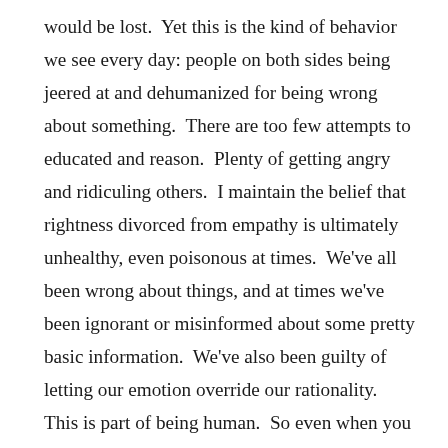would be lost.  Yet this is the kind of behavior we see every day: people on both sides being jeered at and dehumanized for being wrong about something.  There are too few attempts to educated and reason.  Plenty of getting angry and ridiculing others.  I maintain the belief that rightness divorced from empathy is ultimately unhealthy, even poisonous at times.  We've all been wrong about things, and at times we've been ignorant or misinformed about some pretty basic information.  We've also been guilty of letting our emotion override our rationality.  This is part of being human.  So even when you believe that someone is wrong about something, even dangerously wrong, it doesn't make them any less human.  We have easily duped and plastic brains that are subject to the influences in our lives.